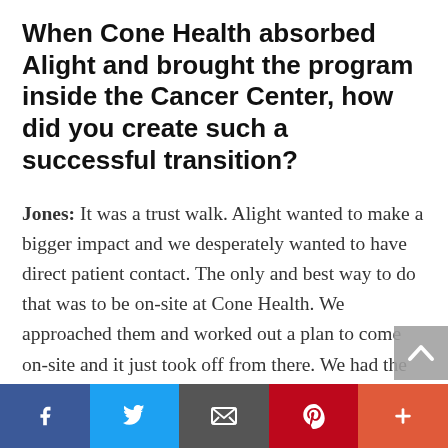When Cone Health absorbed Alight and brought the program inside the Cancer Center, how did you create such a successful transition?
Jones: It was a trust walk. Alight wanted to make a bigger impact and we desperately wanted to have direct patient contact. The only and best way to do that was to be on-site at Cone Health. We approached them and worked out a plan to come on-site and it just took off from there. We had the right leadership in place